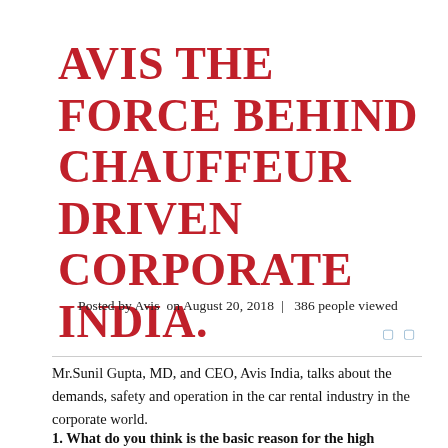AVIS THE FORCE BEHIND CHAUFFEUR DRIVEN CORPORATE INDIA.
Posted by Avis  on August 20, 2018 |   386 people viewed
Mr.Sunil Gupta, MD, and CEO, Avis India, talks about the demands, safety and operation in the car rental industry in the corporate world.
1. What do you think is the basic reason for the high demands